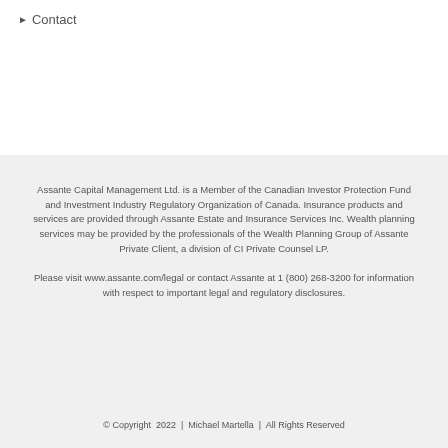Contact
Assante Capital Management Ltd. is a Member of the Canadian Investor Protection Fund and Investment Industry Regulatory Organization of Canada. Insurance products and services are provided through Assante Estate and Insurance Services Inc. Wealth planning services may be provided by the professionals of the Wealth Planning Group of Assante Private Client, a division of CI Private Counsel LP.
Please visit www.assante.com/legal or contact Assante at 1 (800) 268-3200 for information with respect to important legal and regulatory disclosures.
© Copyright 2022 | Michael Martella | All Rights Reserved